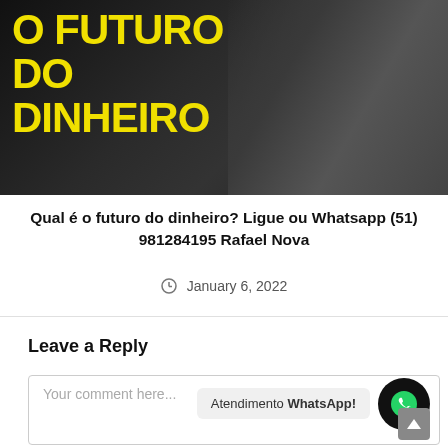[Figure (screenshot): Podcast thumbnail with two men wearing headphones at microphones, dark background, yellow bold text reading 'O FUTURO DO DINHEIRO']
Qual é o futuro do dinheiro? Ligue ou Whatsapp (51) 981284195 Rafael Nova
January 6, 2022
Leave a Reply
Your comment here...
Atendimento WhatsApp!